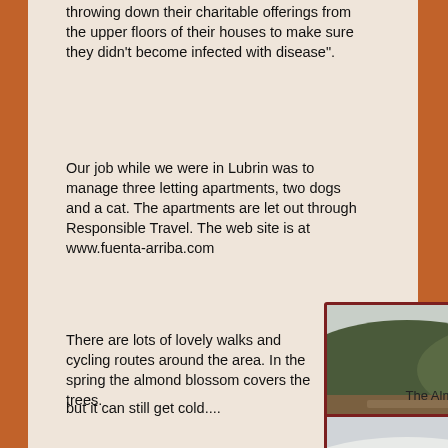throwing down their charitable offerings from the upper floors of their houses to make sure they didn't become infected with disease".
Our job while we were in Lubrin was to manage three letting apartments, two dogs and a cat. The apartments are let out through Responsible Travel. The web site is at www.fuenta-arriba.com
There are lots of lovely walks and cycling routes around the area. In the spring the almond blossom covers the trees.
[Figure (photo): Hillside landscape showing terraced agricultural land with almond trees in spring, green and brown terrain under overcast sky]
The Almond Blossom
but it can still get cold....
[Figure (photo): Snow-covered mountain landscape with white snow on hills and overcast sky]